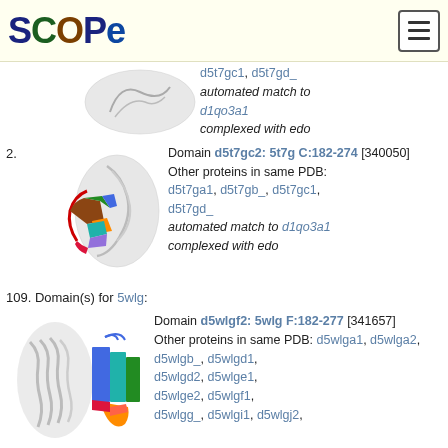SCOPe
d5t7gc1, d5t7gd_
automated match to d1qo3a1
complexed with edo
2. Domain d5t7gc2: 5t7g C:182-274 [340050] Other proteins in same PDB: d5t7ga1, d5t7gb_, d5t7gc1, d5t7gd_ automated match to d1qo3a1 complexed with edo
109. Domain(s) for 5wlg:
Domain d5wlgf2: 5wlg F:182-277 [341657] Other proteins in same PDB: d5wlga1, d5wlga2, d5wlgb_, d5wlgd1, d5wlgd2, d5wlge1, d5wlge2, d5wlgf1, d5wlgg_, d5wlgi1, d5wlgj2,